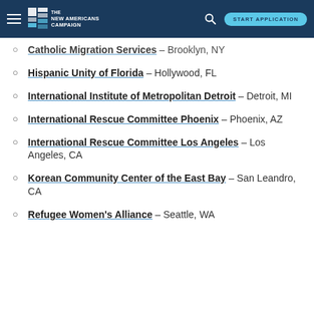THE NEW AMERICANS CAMPAIGN — START APPLICATION
Catholic Migration Services – Brooklyn, NY
Hispanic Unity of Florida – Hollywood, FL
International Institute of Metropolitan Detroit – Detroit, MI
International Rescue Committee Phoenix – Phoenix, AZ
International Rescue Committee Los Angeles – Los Angeles, CA
Korean Community Center of the East Bay – San Leandro, CA
Refugee Women's Alliance – Seattle, WA